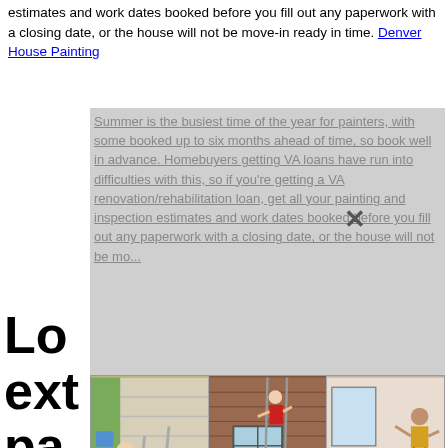estimates and work dates booked before you fill out any paperwork with a closing date, or the house will not be move-in ready in time. Denver House Painting
Summer is the busiest time of the year for painters, with some booked up to six months ahead of time, so book well in advance. Homebuyers getting VA loans have run into difficulties with this, so if you're getting a VA renovation/rehabilitation loan, get all your painting and inspection estimates and work dates booked before you fill out any paperwork with a closing date, or the house will not be mo...
[Figure (photo): Three photos side by side of people falling off or doing acrobatics on ladders near houses being painted]
Look for exterior painters, on interior, or two coats of flat or eggshell exterior paint to entire house. Be sure to...